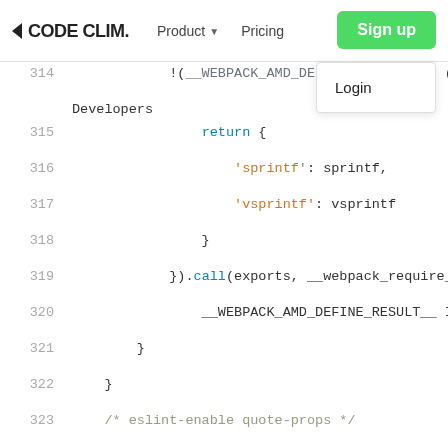CODE CLIM. | Product | Pricing | Sign up | Login
[Figure (screenshot): Code editor showing JavaScript code lines 314-329 with syntax highlighting, including webpack AMD define, return statement, sprintf/vsprintf, eslint comments, and line numbers.]